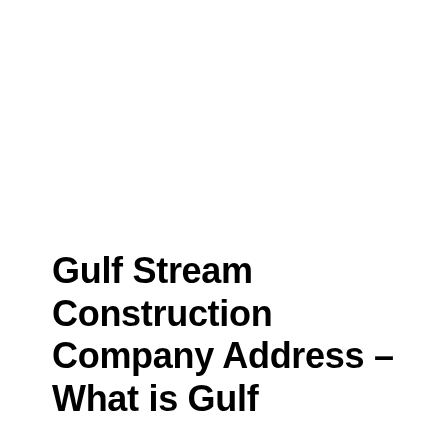Gulf Stream Construction Company Address – What is Gulf